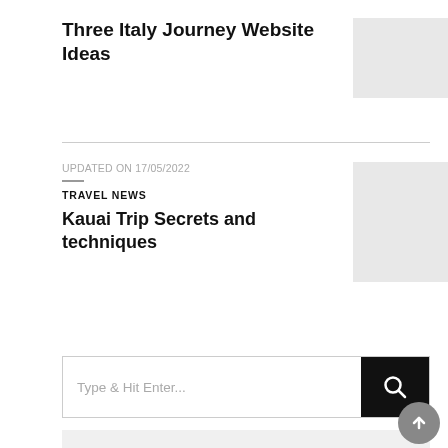Three Italy Journey Website Ideas
UPDATED ON 17/05/2022
TRAVEL NEWS
Kauai Trip Secrets and techniques
Type & Hit Enter...
RECENT POSTS